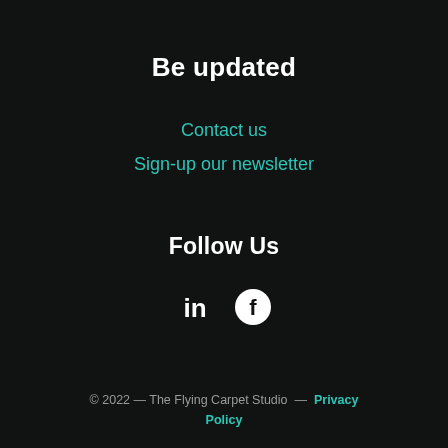Be updated
Contact us
Sign-up our newsletter
Follow Us
[Figure (illustration): LinkedIn and Facebook social media icons in white on dark background]
© 2022 — The Flying Carpet Studio — Privacy Policy